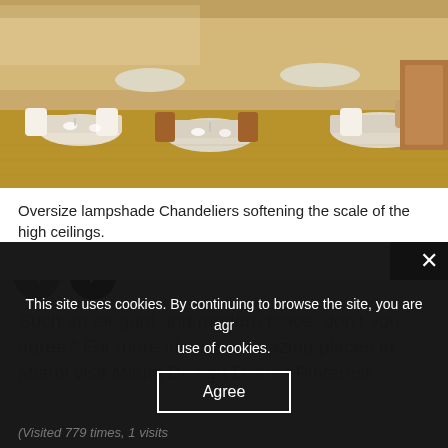[Figure (photo): Interior of an elegant modern restaurant with round tables, white chairs, brown leather seats, and warm lighting. Multiple dining tables set with plates and glasses arranged in a spacious room with high ceilings.]
Oversize lampshade Chandeliers softening the scale of the high ceilings.
[Figure (other): Navigation buttons: left arrow (grey circle) and right arrow (dark/black circle)]
Such an elegant and modern place, don't you agree? For more ideas an amazing places in Miami visit Miami Design District Pinterest.
This site uses cookies. By continuing to browse the site, you are agr use of cookies.
Agree
Visited 779 times, 1 visits